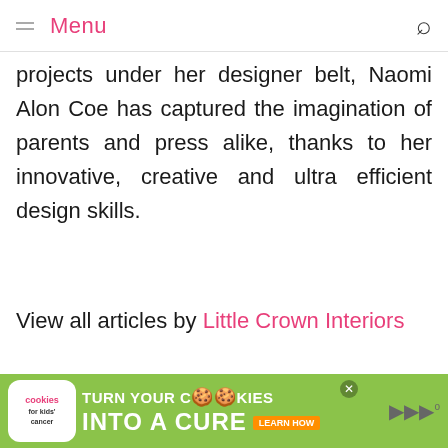Menu
projects under her designer belt, Naomi Alon Coe has captured the imagination of parents and press alike, thanks to her innovative, creative and ultra efficient design skills.
View all articles by Little Crown Interiors
< Wild About Butterflies
> Big City Moms NYC, Round 2!
[Figure (infographic): Advertisement banner for cookies for kids cancer - turn your cookies into a cure learn how]